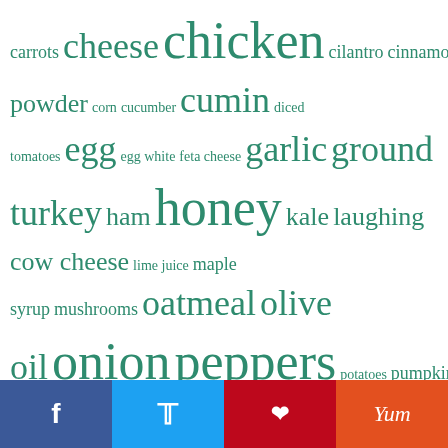[Figure (infographic): Tag cloud of food/recipe ingredients with varying font sizes indicating frequency. Words include: carrots, cheese, chicken, cilantro, cinnamon, cocoa powder, corn, cucumber, cumin, diced tomatoes, egg, egg white, feta cheese, garlic, ground turkey, ham, honey, kale, laughing cow cheese, lime juice, maple syrup, mushrooms, oatmeal, olive oil, onion, peppers, potatoes, pumpkin, soy sauce, spinach, sweet potato, tomato, turkey, whole wheat flour, yogurt, zucchini. All in teal/green color.]
[Figure (infographic): Social sharing bar with four buttons: Facebook (blue), Twitter (light blue), Pinterest (red), Yummly (orange)]